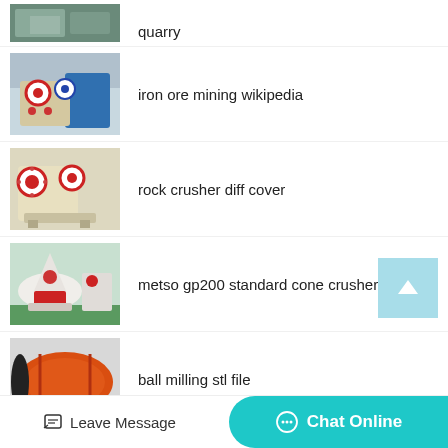[Figure (photo): Mining/quarry machinery thumbnail (partially visible at top)]
quarry
[Figure (photo): Industrial jaw crusher machine - iron ore mining]
iron ore mining wikipedia
[Figure (photo): Rock crusher machine - beige and red]
rock crusher diff cover
[Figure (photo): Metso GP200 cone crusher - white and red]
metso gp200 standard cone crusher cost
[Figure (photo): Ball mill machine - orange large cylindrical drum]
ball milling stl file
Leave Message
Chat Online